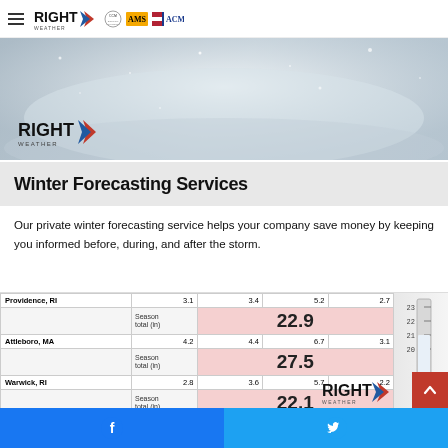Right Weather — navigation header with hamburger menu and partner logos (CCM, AMS, ACM)
[Figure (photo): Hero image: snowy blizzard scene with Right Weather logo overlay]
Winter Forecasting Services
Our private winter forecasting service helps your company save money by keeping you informed before, during, and after the storm.
[Figure (table-as-image): Forecast table showing seasonal snowfall totals for Providence RI (22.9 in), Attleboro MA (27.5 in), and Warwick RI (22.1 in) with individual storm values, alongside a snow gauge image and Right Weather logo overlay]
Facebook share | Twitter share